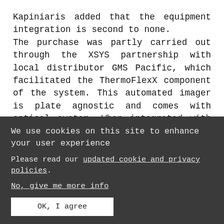Kapiniaris added that the equipment integration is second to none.
The purchase was partly carried out through the XSYS partnership with local distributor GMS Pacific, which facilitated the ThermoFlexX component of the system. This automated imager is plate agnostic and comes with optical system. When integrated with the Catena modules, platemaking is fully automated,
We use cookies on this site to enhance your user experience
Please read our updated cookie and privacy policies.
No, give me more info
OK, I agree